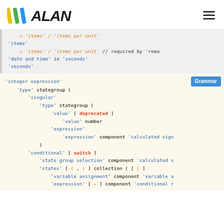ALAN logo and navigation hamburger menu
= 'items' / 'items per unit'
'items'
    = 'items' / 'items per unit' // required by 'rema
'date and time' in 'seconds'
'seconds'
'integer expression'
    'type' stategroup (
        'singular'
            'type' stategroup (
                'value' [ deprecated ]
                    'value' number
                'expression'
                    'expression' component 'calculated sign
            )
        'conditional' [ switch ]
            'state group selection' component 'calculated s
            'states' [ (, ) ] collection ( [ | ]
                'variable assignment' component 'variable a
                'expression' [ = ] component 'conditional r